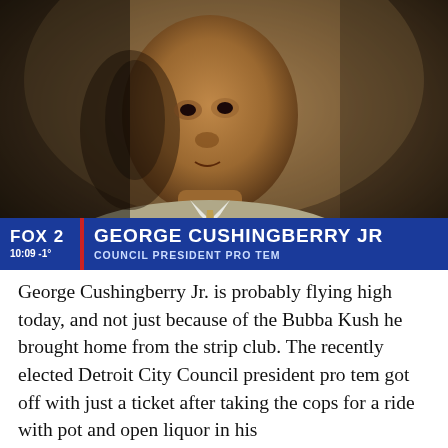[Figure (screenshot): TV news screenshot of George Cushingberry Jr. being interviewed, wearing a light grey suit. Lower-third chyron shows FOX 2 logo, time 10:09 -1°, name GEORGE CUSHINGBERRY JR, title COUNCIL PRESIDENT PRO TEM.]
George Cushingberry Jr. is probably flying high today, and not just because of the Bubba Kush he brought home from the strip club. The recently elected Detroit City Council president pro tem got off with just a ticket after taking the cops for a ride with pot and open liquor in his